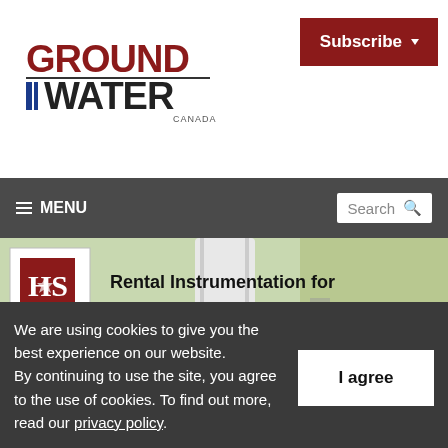[Figure (logo): Ground Water Canada magazine logo with red and black text]
[Figure (screenshot): Subscribe button in dark red with dropdown arrow]
≡ MENU   Search 🔍
[Figure (photo): Hoskin Scientific advertisement - Rental Instrumentation for all your Groundwater Needs, showing various water testing instruments and equipment]
We are using cookies to give you the best experience on our website. By continuing to use the site, you agree to the use of cookies. To find out more, read our privacy policy.
I agree